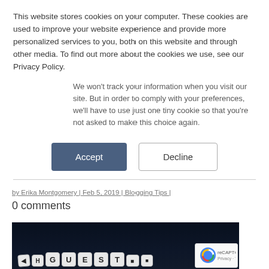This website stores cookies on your computer. These cookies are used to improve your website experience and provide more personalized services to you, both on this website and through other media. To find out more about the cookies we use, see our Privacy Policy.
We won't track your information when you visit our site. But in order to comply with your preferences, we'll have to use just one tiny cookie so that you're not asked to make this choice again.
[Figure (screenshot): Cookie consent buttons: Accept (dark blue/filled) and Decline (outline)]
by Erika Montgomery | Feb 5, 2019 | Blogging Tips |
0 comments
[Figure (photo): Dark background photo showing letter dice/cubes spelling out GUEST on a reflective surface]